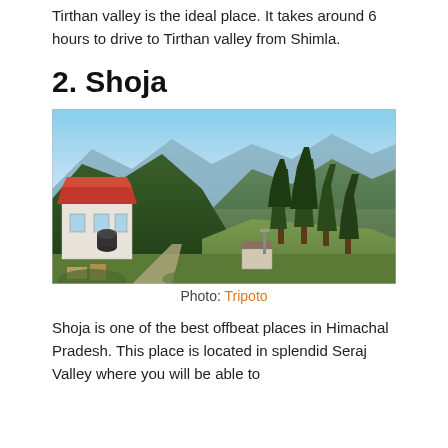Tirthan valley is the ideal place. It takes around 6 hours to drive to Tirthan valley from Shimla.
2. Shoja
[Figure (photo): Mountain valley landscape with a building featuring a red roof on the left, tall conifer trees, and a wide valley view under a clear blue sky. Location: Shoja, Himachal Pradesh.]
Photo: Tripoto
Shoja is one of the best offbeat places in Himachal Pradesh. This place is located in splendid Seraj Valley where you will be able to